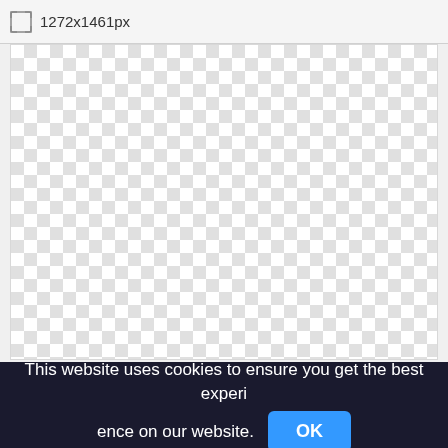1272x1461px
[Figure (screenshot): Transparent/empty checkerboard pattern area representing an image placeholder with grey and white squares]
This website uses cookies to ensure you get the best experience on our website. OK